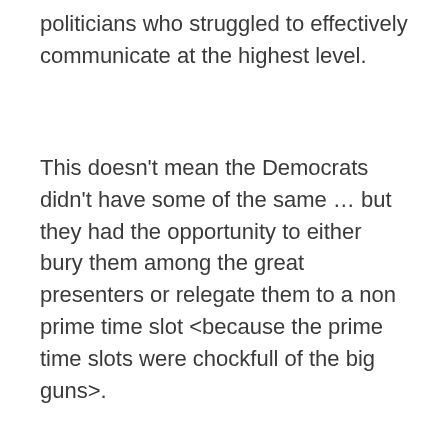politicians who struggled to effectively communicate at the highest level.
This doesn't mean the Democrats didn't have some of the same … but they had the opportunity to either bury them among the great presenters or relegate them to a non prime time slot <because the prime time slots were chockfull of the big guns>.